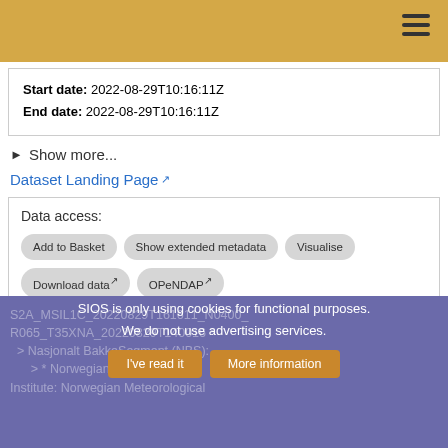Start date: 2022-08-29T10:16:11Z
End date: 2022-08-29T10:16:11Z
▶ Show more...
Dataset Landing Page ↗
Data access:
Add to Basket | Show extended metadata | Visualise | Download data ↗ | OPeNDAP ↗ | Download SAFE product ↗ | Export Metadata
Access: Open
SIOS is only using cookies for functional purposes.
We do not use advertising services.
I've read it | More information
S2A_MSIL1C_20220829T161611_N0400_R065_T35XNA_20220829T140016 *
> Nasjonalt BakkeSegment (NBS):
> * Norwegian Meteorological Institute: Norwegian Meteorological